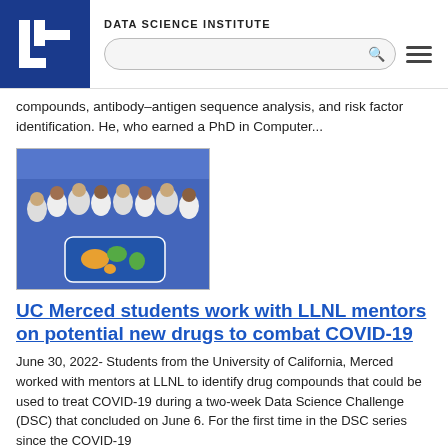DATA SCIENCE INSTITUTE
compounds, antibody–antigen sequence analysis, and risk factor identification. He, who earned a PhD in Computer...
[Figure (photo): Group photo of UC Merced students in white t-shirts standing in front of a colorful world map illustration outdoors]
UC Merced students work with LLNL mentors on potential new drugs to combat COVID-19
June 30, 2022- Students from the University of California, Merced worked with mentors at LLNL to identify drug compounds that could be used to treat COVID-19 during a two-week Data Science Challenge (DSC) that concluded on June 6. For the first time in the DSC series since the COVID-19